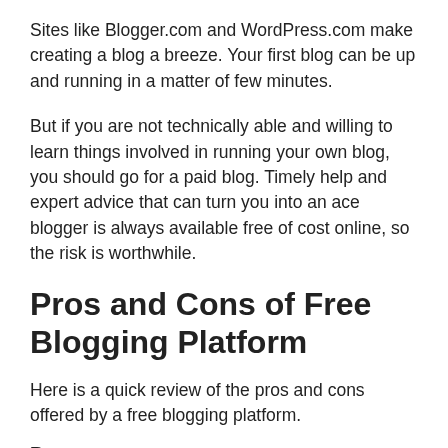Sites like Blogger.com and WordPress.com make creating a blog a breeze. Your first blog can be up and running in a matter of few minutes.
But if you are not technically able and willing to learn things involved in running your own blog, you should go for a paid blog. Timely help and expert advice that can turn you into an ace blogger is always available free of cost online, so the risk is worthwhile.
Pros and Cons of Free Blogging Platform
Here is a quick review of the pros and cons offered by a free blogging platform.
P